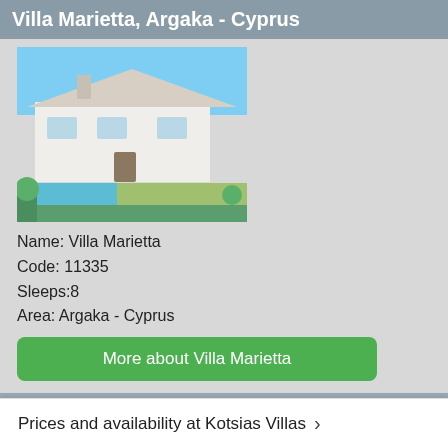Villa Marietta, Argaka - Cyprus
[Figure (photo): Exterior photo of Villa Marietta, a white villa with pool and green garden.]
Name: Villa Marietta
Code: 11335
Sleeps:8
Area: Argaka - Cyprus
More about Villa Marietta
Villa Eliza, Coral Bay - Cyprus
[Figure (photo): Exterior photo of Villa Eliza, a stone-clad villa with blue swimming pool.]
Name: Villa Eliza
Code: [partially visible]
Sleeps: [partially visible]
Prices and availability at Kotsias Villas ›